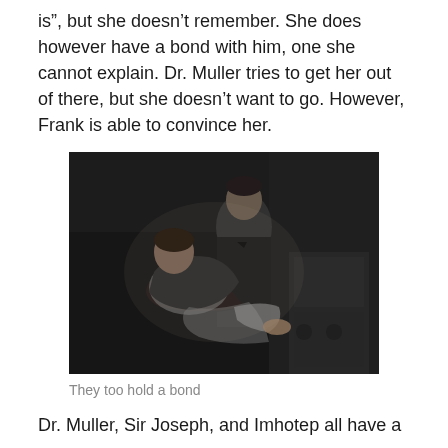is”, but she doesn’t remember. She does however have a bond with him, one she cannot explain. Dr. Muller tries to get her out of there, but she doesn’t want to go. However, Frank is able to convince her.
[Figure (photo): Black and white film still showing a man in a dark suit carrying a woman in his arms, in what appears to be an interior scene.]
They too hold a bond
Dr. Muller, Sir Joseph, and Imhotep all have a